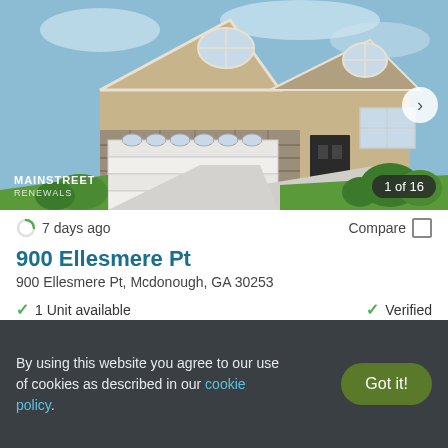[Figure (photo): Exterior photo of a two-story suburban house with stone accents, double garage, and landscaped front yard. Watermark reads MAINSTREET. Badge reads '1 of 16'.]
7 days ago
Compare
900 Ellesmere Pt
900 Ellesmere Pt, Mcdonough, GA 30253
1 Unit available
Verified
3 BEDS
By using this website you agree to our use of cookies as described in our cookie policy.